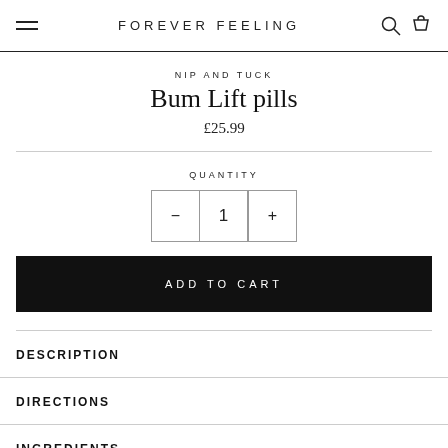FOREVER FEELING
NIP AND TUCK
Bum Lift pills
£25.99
QUANTITY
- 1 +
ADD TO CART
DESCRIPTION
DIRECTIONS
INGREDIENTS